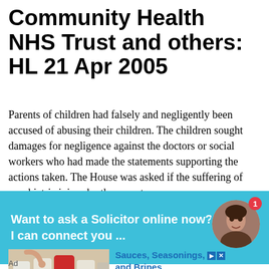Community Health NHS Trust and others: HL 21 Apr 2005
Parents of children had falsely and negligently been accused of abusing their children. The children sought damages for negligence against the doctors or social workers who had made the statements supporting the actions taken. The House was asked if the suffering of psychiatric injury by the parent
[Figure (other): Chat widget overlay with teal background showing 'Want to ask a Solicitor online now? I can connect you ...' with a circular avatar photo of a woman with notification badge showing '1']
[Figure (photo): Advertisement photo showing bottles of Lane's BBQ sauces, seasonings, and brines on a store shelf]
Sauces, Seasonings, and Brines
Ad